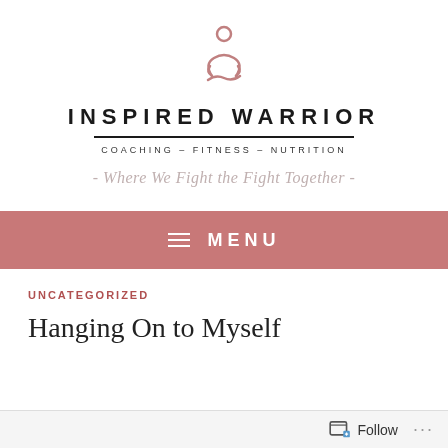[Figure (logo): Inspired Warrior logo: a stylized meditating figure in mauve/rose color above the text]
INSPIRED WARRIOR
COACHING – FITNESS – NUTRITION
- Where We Fight the Fight Together -
≡ MENU
UNCATEGORIZED
Hanging On to Myself
Follow